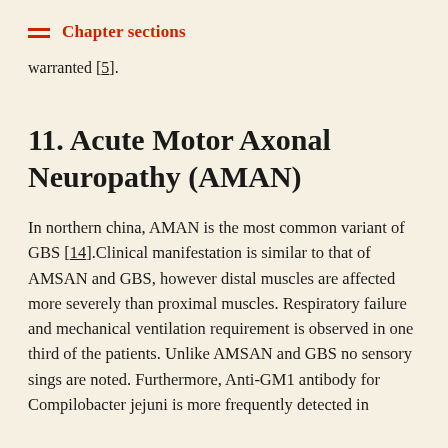Chapter sections
warranted [5].
11. Acute Motor Axonal Neuropathy (AMAN)
In northern china, AMAN is the most common variant of GBS [14].Clinical manifestation is similar to that of AMSAN and GBS, however distal muscles are affected more severely than proximal muscles. Respiratory failure and mechanical ventilation requirement is observed in one third of the patients. Unlike AMSAN and GBS no sensory sings are noted. Furthermore, Anti-GM1 antibody for Compilobacter jejuni is more frequently detected in